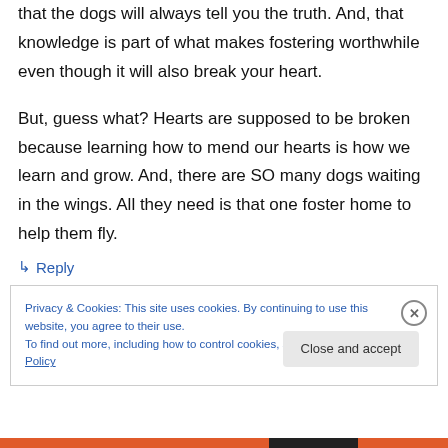that the dogs will always tell you the truth. And, that knowledge is part of what makes fostering worthwhile even though it will also break your heart.

But, guess what? Hearts are supposed to be broken because learning how to mend our hearts is how we learn and grow. And, there are SO many dogs waiting in the wings. All they need is that one foster home to help them fly.
↳ Reply
Privacy & Cookies: This site uses cookies. By continuing to use this website, you agree to their use.
To find out more, including how to control cookies, see here: Cookie Policy

Close and accept